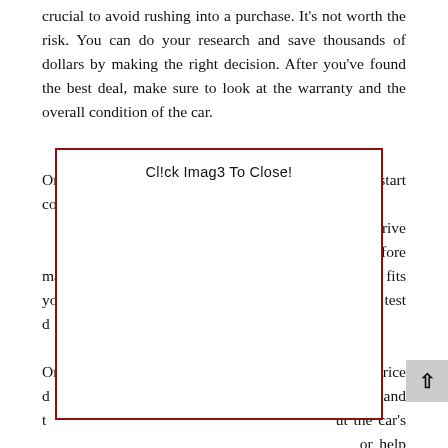crucial to avoid rushing into a purchase. It's not worth the risk. You can do your research and save thousands of dollars by making the right decision. After you've found the best deal, make sure to look at the warranty and the overall condition of the car.
Once you've decided on a few cars, you can start collecting price [quotes, and then test-drive] before making [sure the car fits your family. A test drive] you can also d[etermine...]
[Figure (screenshot): A white overlay box with a dark red border containing the text 'Cl!ck Imag3 To Close!' at the top, covering most of the page content below.]
Once [you've decided on a few cars, you can start coll]ecting price [quotes, get insurance] quotes, and t[alk to the dealer ab]ut the car's [history. This inf]or[mation will] help y[ou negotiate the p]ric[e. A] test drive will also help you get a feel for whether a particular